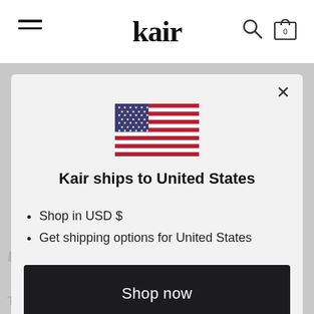kair
[Figure (illustration): US flag emoji/icon centered in modal]
Kair ships to United States
Shop in USD $
Get shipping options for United States
Shop now
Change shipping country
STANS
Tis the season to swap phone screens and instant